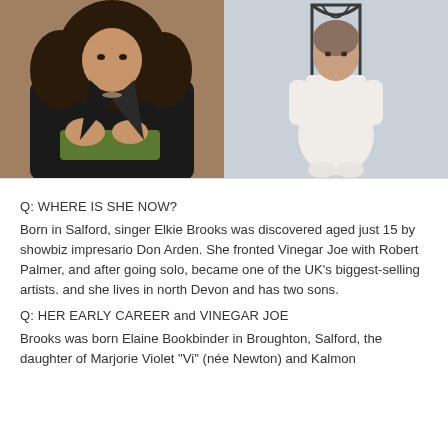[Figure (photo): Two side-by-side photos. Left: a woman with long dark curly hair wearing a black leather jacket, seated, hands folded. Right: an older woman wearing a white outfit seated on a decorative metal chair against a light blue background.]
Q: WHERE IS SHE NOW?
Born in Salford, singer Elkie Brooks was discovered aged just 15 by showbiz impresario Don Arden. She fronted Vinegar Joe with Robert Palmer, and after going solo, became one of the UK's biggest-selling artists. and she lives in north Devon and has two sons.
Q: HER EARLY CAREER and VINEGAR JOE
Brooks was born Elaine Bookbinder in Broughton, Salford, the daughter of Marjorie Violet "Vi" (née Newton) and Kalmon